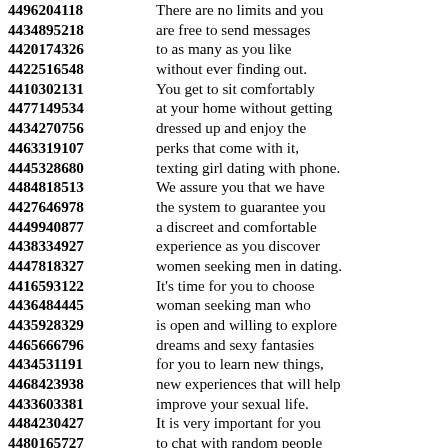4496204118 There are no limits and you
4434895218 are free to send messages
4420174326 to as many as you like
4422516548 without ever finding out.
4410302131 You get to sit comfortably
4477149534 at your home without getting
4434270756 dressed up and enjoy the
4463319107 perks that come with it,
4445328680 texting girl dating with phone.
4484818513 We assure you that we have
4427646978 the system to guarantee you
4449940877 a discreet and comfortable
4438334927 experience as you discover
4447818327 women seeking men in dating.
4416593122 It's time for you to choose
4436484445 woman seeking man who
4435928329 is open and willing to explore
4465666796 dreams and sexy fantasies
4434531191 for you to learn new things,
4468423938 new experiences that will help
4433603381 improve your sexual life.
4484230427 It is very important for you
4480165727 to chat with random people
4411928469 finding out because you
4457874148 get to share your experiences.
4454531738 A...